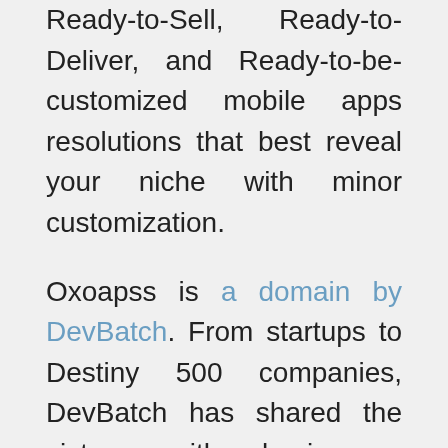Ready-to-Sell, Ready-to-Deliver, and Ready-to-be-customized mobile apps resolutions that best reveal your niche with minor customization.
Oxoapss is a domain by DevBatch. From startups to Destiny 500 companies, DevBatch has shared the victory with businesses around the globe. They have developed from one man's endeavor to one giant team of software engineers, business strategists, creative designers, and marketing experts.
DevBatch services portfolio involved mobility, big data, CRM Solutions (Salesforce, after sales services), enterprise solutions (SharePoint), digital